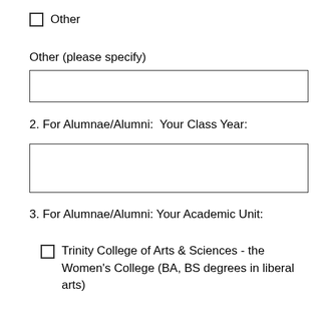Other
Other (please specify)
[input box]
2. For Alumnae/Alumni:  Your Class Year:
[input box]
3. For Alumnae/Alumni: Your Academic Unit:
Trinity College of Arts & Sciences - the Women's College (BA, BS degrees in liberal arts)